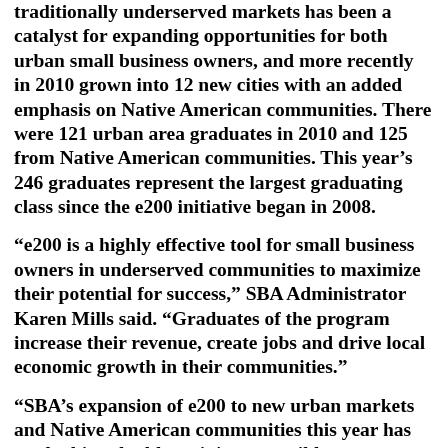traditionally underserved markets has been a catalyst for expanding opportunities for both urban small business owners, and more recently in 2010 grown into 12 new cities with an added emphasis on Native American communities. There were 121 urban area graduates in 2010 and 125 from Native American communities. This year's 246 graduates represent the largest graduating class since the e200 initiative began in 2008.
“e200 is a highly effective tool for small business owners in underserved communities to maximize their potential for success,” SBA Administrator Karen Mills said. “Graduates of the program increase their revenue, create jobs and drive local economic growth in their communities.”
“SBA’s expansion of e200 to new urban markets and Native American communities this year has made this valuable training accessible to more promising entrepreneurs than ever,” continued Mills. “The training, mentorship and resources that these small